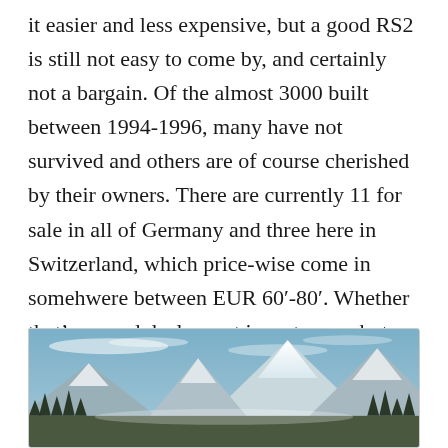it easier and less expensive, but a good RS2 is still not easy to come by, and certainly not a bargain. Of the almost 3000 built between 1994-1996, many have not survived and others are of course cherished by their owners. There are currently 11 for sale in all of Germany and three here in Switzerland, which price-wise come in somehwere between EUR 60'-80'. Whether that's a good deal or not is up to you, but the RS2 certainly deserves its place among 90's icons as the first of a legendary range of RS models and a power combi in the purest sense!
[Figure (photo): Mountain landscape with snow-capped peaks, blue sky with wispy clouds, and dark evergreen trees in the foreground.]